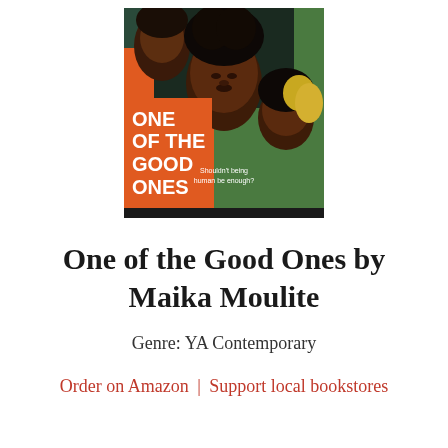[Figure (illustration): Book cover of 'One of the Good Ones' showing illustrated artwork of three young Black women with natural hair against an orange and teal background. The title text reads 'ONE OF THE GOOD ONES' in bold white letters, with the tagline 'Shouldn't being human be enough?']
One of the Good Ones by Maika Moulite
Genre: YA Contemporary
Order on Amazon | Support local bookstores